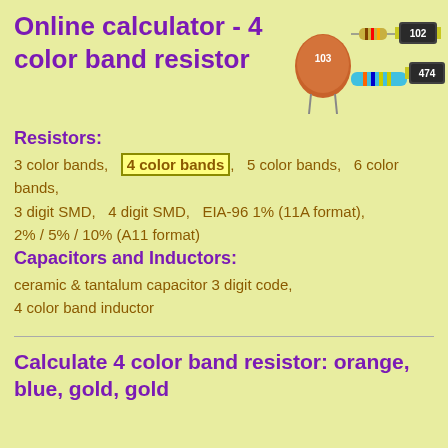Online calculator - 4 color band resistor
[Figure (illustration): Icons of various resistor and capacitor components: ceramic capacitor labeled 103, axial resistor, SMD resistor labeled 102, blue band resistor, SMD resistor labeled 474]
Resistors:
3 color bands,   4 color bands,   5 color bands,   6 color bands, 3 digit SMD,   4 digit SMD,   EIA-96 1% (11A format), 2% / 5% / 10% (A11 format)
Capacitors and Inductors:
ceramic & tantalum capacitor 3 digit code, 4 color band inductor
Calculate 4 color band resistor: orange, blue, gold, gold